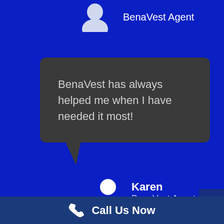BenaVest Agent
BenaVest has always helped me when I have needed it most!
Karen
BenaVest Agent
Call Us Now